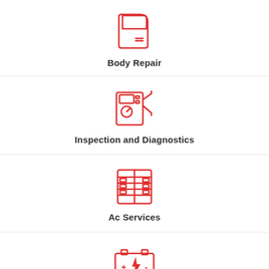[Figure (illustration): Red line icon of a car door panel]
Body Repair
[Figure (illustration): Red line icon of a multimeter with probes]
Inspection and Diagnostics
[Figure (illustration): Red line icon of an AC unit/condenser]
Ac Services
[Figure (illustration): Red line icon of a car battery with lightning bolt]
Battery Care